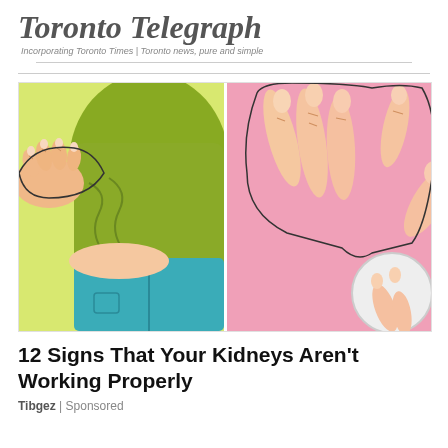Toronto Telegraph
Incorporating Toronto Times | Toronto news, pure and simple
[Figure (illustration): Two-panel illustration: left panel shows a cartoon person in a green shirt and teal pants holding their side/back area against a yellow-green background; right panel shows a close-up of cartoon hands pressing on a pink background with a circular inset showing fingers pressing]
12 Signs That Your Kidneys Aren't Working Properly
Tibgez | Sponsored